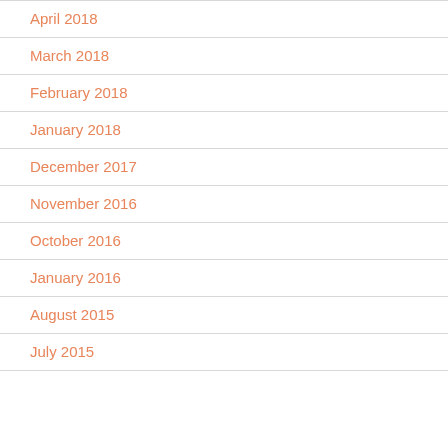April 2018
March 2018
February 2018
January 2018
December 2017
November 2016
October 2016
January 2016
August 2015
July 2015